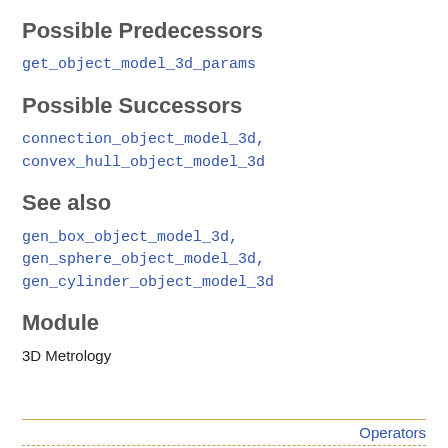Possible Predecessors
get_object_model_3d_params
Possible Successors
connection_object_model_3d, convex_hull_object_model_3d
See also
gen_box_object_model_3d, gen_sphere_object_model_3d, gen_cylinder_object_model_3d
Module
3D Metrology
Operators